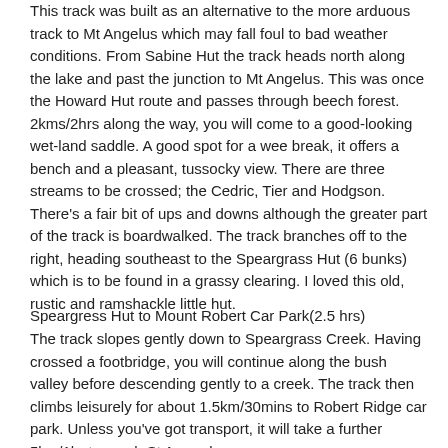This track was built as an alternative to the more arduous track to Mt Angelus which may fall foul to bad weather conditions. From Sabine Hut the track heads north along the lake and past the junction to Mt Angelus. This was once the Howard Hut route and passes through beech forest. 2kms/2hrs along the way, you will come to a good-looking wet-land saddle. A good spot for a wee break, it offers a bench and a pleasant, tussocky view. There are three streams to be crossed; the Cedric, Tier and Hodgson. There's a fair bit of ups and downs although the greater part of the track is boardwalked. The track branches off to the right, heading southeast to the Speargrass Hut (6 bunks) which is to be found in a grassy clearing. I loved this old, rustic and ramshackle little hut.
Speargress Hut to Mount Robert Car Park(2.5 hrs)
The track slopes gently down to Speargrass Creek. Having crossed a footbridge, you will continue along the bush valley before descending gently to a creek. The track then climbs leisurely for about 1.5km/30mins to Robert Ridge car park. Unless you've got transport, it will take a further 5km/1hr to reach St Arnaud.